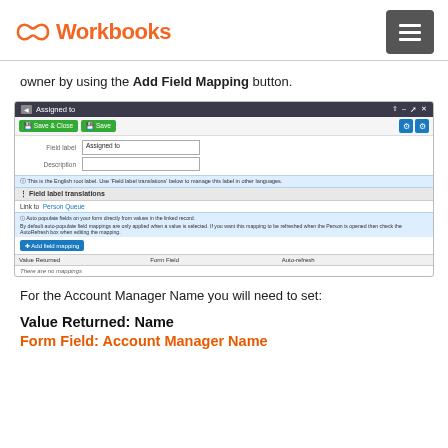Workbooks
owner by using the Add Field Mapping button.
[Figure (screenshot): Workbooks CRM screenshot showing 'Assigned to' field mapping dialog with Save & Close, Save buttons, Field label input showing 'Assigned to', Description field, Field label translations section, Link to Person Queue, auto-populate information, Add field mapping button, and a table with Value Returned, Form Field, Auto-refresh columns showing 'There are no mappings']
For the Account Manager Name you will need to set:
Value Returned: Name
Form Field: Account Manager Name